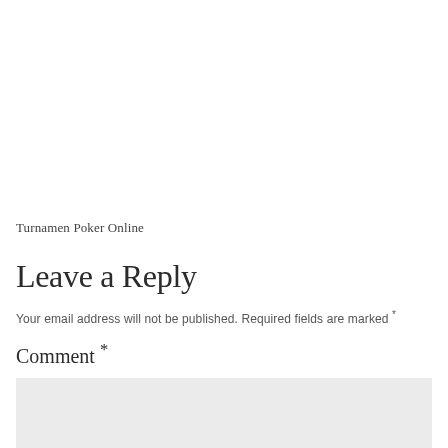Turnamen Poker Online
Leave a Reply
Your email address will not be published. Required fields are marked *
Comment *